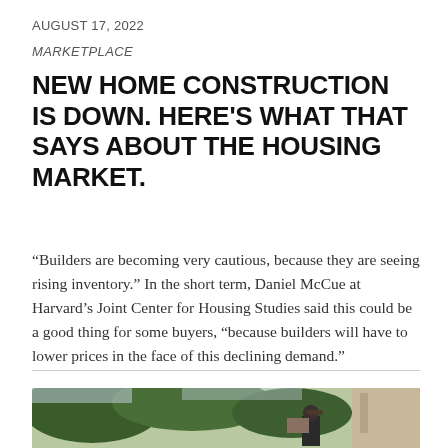AUGUST 17, 2022
MARKETPLACE
NEW HOME CONSTRUCTION IS DOWN. HERE'S WHAT THAT SAYS ABOUT THE HOUSING MARKET.
“Builders are becoming very cautious, because they are seeing rising inventory.” In the short term, Daniel McCue at Harvard’s Joint Center for Housing Studies said this could be a good thing for some buyers, “because builders will have to lower prices in the face of this declining demand.”
[Figure (photo): A worker carrying materials near a building with trees in the background]